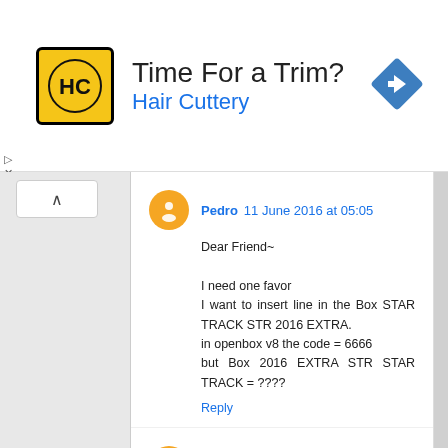[Figure (infographic): Advertisement banner: Hair Cuttery logo (HC in black circle on yellow background), text 'Time For a Trim?' in dark, 'Hair Cuttery' in blue, blue diamond arrow icon on right]
Pedro  11 June 2016 at 05:05
Dear Friend~

I need one favor
I want to insert line in the Box STAR TRACK STR 2016 EXTRA.
in openbox v8 the code = 6666
but Box 2016 EXTRA STR STAR TRACK = ????
Reply
Unknown  28 July 2016 at 22:38
plz i want to insert in the ALFA GOLD to code chanaral namber bin code
Reply